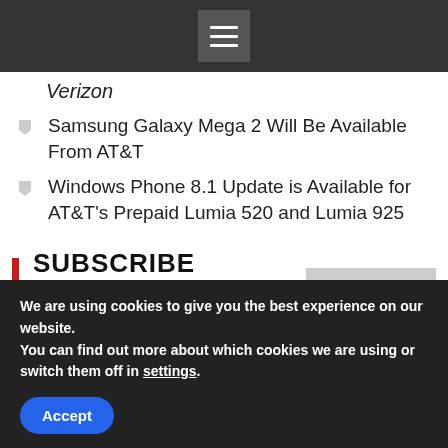Navigation menu bar with hamburger icon
Verizon
Samsung Galaxy Mega 2 Will Be Available From AT&T
Windows Phone 8.1 Update is Available for AT&T's Prepaid Lumia 520 and Lumia 925
SUBSCRIBE PREPAID PHONES
Subscribe
We are using cookies to give you the best experience on our website.
You can find out more about which cookies we are using or switch them off in settings.
Accept